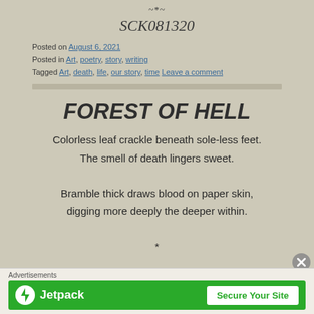~*~
SCK081320
Posted on August 6, 2021
Posted in Art, poetry, story, writing
Tagged Art, death, life, our story, time Leave a comment
FOREST OF HELL
Colorless leaf crackle beneath sole-less feet.
The smell of death lingers sweet.

Bramble thick draws blood on paper skin,
digging more deeply the deeper within.

*

Then starlight fades to the darkness I fear,
Advertisements
[Figure (other): Jetpack advertisement banner with green background, Jetpack logo on left and 'Secure Your Site' button on right]